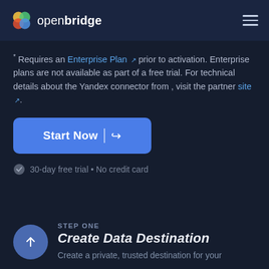openbridge
* Requires an Enterprise Plan prior to activation. Enterprise plans are not available as part of a free trial. For technical details about the Yandex connector from , visit the partner site .
Start Now →
30-day free trial • No credit card
STEP ONE
Create Data Destination
Create a private, trusted destination for your